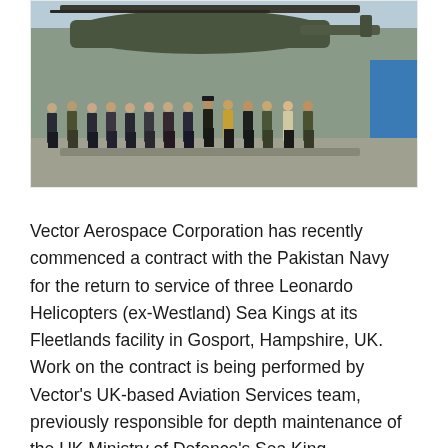[Figure (photo): Group photo of approximately 14 people standing in a row outdoors in front of a military helicopter on a tarmac. People are wearing a mix of military uniforms and civilian business attire.]
Vector Aerospace Corporation has recently commenced a contract with the Pakistan Navy for the return to service of three Leonardo Helicopters (ex-Westland) Sea Kings at its Fleetlands facility in Gosport, Hampshire, UK.  Work on the contract is being performed by Vector's UK-based Aviation Services team, previously responsible for depth maintenance of the UK Ministry of Defence's Sea King helicopter fleet.  A total of seven former UK MoD Sea King aircraft have been acquired by the Pakistan Navy under a separate